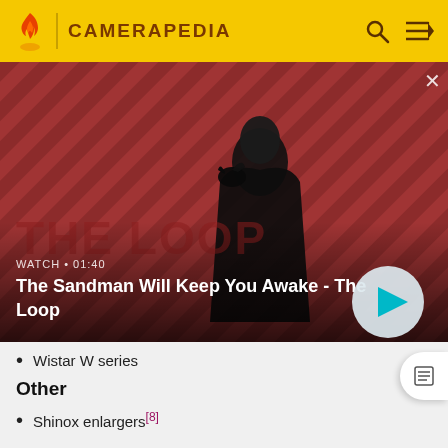CAMERAPEDIA
[Figure (screenshot): Video thumbnail showing a dark-cloaked figure with a raven on their shoulder against a red diagonal striped background. Text overlay: WATCH · 01:40, The Sandman Will Keep You Awake - The Loop]
Wistar W series
Other
Shinox enlargers[8]